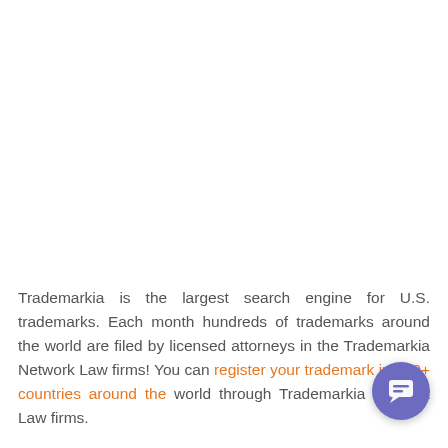Trademarkia is the largest search engine for U.S. trademarks. Each month hundreds of trademarks around the world are filed by licensed attorneys in the Trademarkia Network Law firms! You can register your trademark in 170+ countries around the world through Trademarkia Network Law firms.